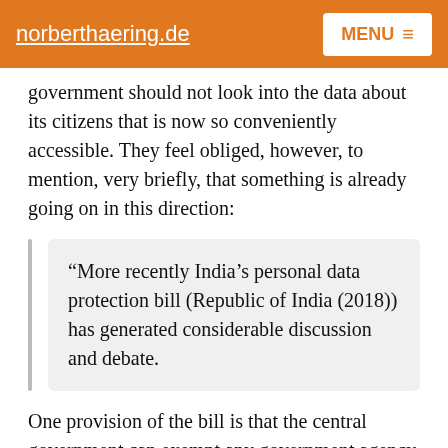norberthaering.de | MENU
government should not look into the data about its citizens that is now so conveniently accessible. They feel obliged, however, to mention, very briefly, that something is already going on in this direction:
“More recently India’s personal data protection bill (Republic of India (2018)) has generated considerable discussion and debate.
One provision of the bill is that the central government can exempt any government agency from the bills restrictions for reasons of national security, public order or friendly relations with foreign states (read NSA-requests for data). For this reason, the bill in its revised 2019 version was